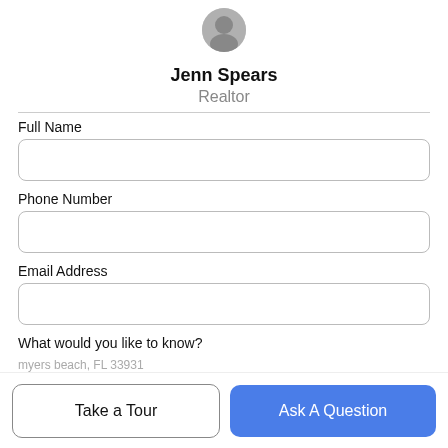[Figure (photo): Circular profile photo of Jenn Spears, a realtor, shown in black and white]
Jenn Spears
Realtor
Full Name
Phone Number
Email Address
What would you like to know?
Take a Tour
Ask A Question
myers beach, FL 33931